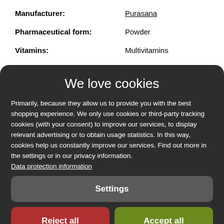Manufacturer: Purasana
Pharmaceutical form: Powder
Vitamins: Multivitamins
We love cookies
Primarily, because they allow us to provide you with the best shopping experience. We only use cookies or third-party tracking cookies (with your consent) to improve our services, to display relevant advertising or to obtain usage statistics. In this way, cookies help us constantly improve our services. Find out more in the settings or in our privacy information. Data protection information
Settings
Reject all
Accept all